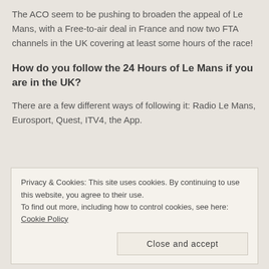The ACO seem to be pushing to broaden the appeal of Le Mans, with a Free-to-air deal in France and now two FTA channels in the UK covering at least some hours of the race!
How do you follow the 24 Hours of Le Mans if you are in the UK?
There are a few different ways of following it: Radio Le Mans, Eurosport, Quest, ITV4, the App.
Privacy & Cookies: This site uses cookies. By continuing to use this website, you agree to their use.
To find out more, including how to control cookies, see here: Cookie Policy